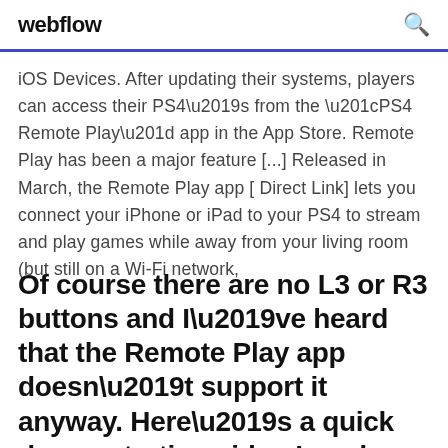webflow
iOS Devices. After updating their systems, players can access their PS4’s from the “PS4 Remote Play” app in the App Store. Remote Play has been a major feature [...] Released in March, the Remote Play app [ Direct Link] lets you connect your iPhone or iPad to your PS4 to stream and play games while away from your living room (but still on a Wi-Fi network,
Of course there are no L3 or R3 buttons and I’ve heard that the Remote Play app doesn’t support it anyway. Here’s a quick demonstration video I made